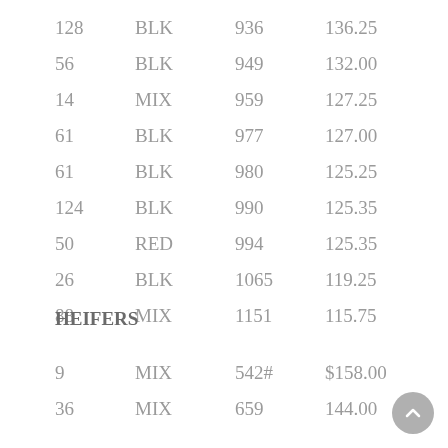| 128 | BLK | 936 | 136.25 |
| 56 | BLK | 949 | 132.00 |
| 14 | MIX | 959 | 127.25 |
| 61 | BLK | 977 | 127.00 |
| 61 | BLK | 980 | 125.25 |
| 124 | BLK | 990 | 125.35 |
| 50 | RED | 994 | 125.35 |
| 26 | BLK | 1065 | 119.25 |
| 88 | MIX | 1151 | 115.75 |
HEIFERS
| 9 | MIX | 542# | $158.00 |
| 36 | MIX | 659 | 144.00 |